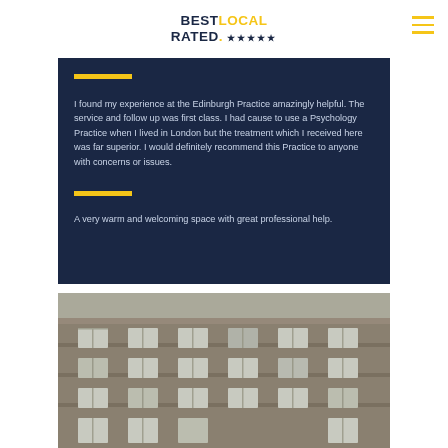BEST LOCAL RATED. ★★★★★
I found my experience at the Edinburgh Practice amazingly helpful. The service and follow up was first class. I had cause to use a Psychology Practice when I lived in London but the treatment which I received here was far superior. I would definitely recommend this Practice to anyone with concerns or issues.
A very warm and welcoming space with great professional help.
[Figure (photo): Exterior photo of a stone building with multiple windows, appears to be a traditional Edinburgh stone tenement or office building]